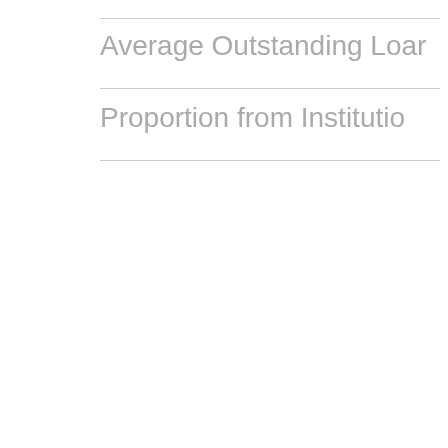Average Outstanding Loan
Proportion from Institutio